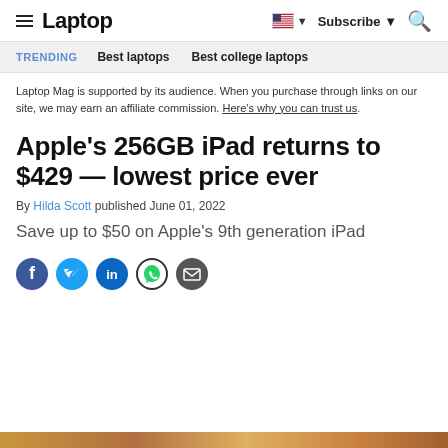Laptop
TRENDING   Best laptops   Best college laptops
Laptop Mag is supported by its audience. When you purchase through links on our site, we may earn an affiliate commission. Here's why you can trust us.
Apple's 256GB iPad returns to $429 — lowest price ever
By Hilda Scott published June 01, 2022
Save up to $50 on Apple's 9th generation iPad
[Figure (infographic): Social share icons: Facebook, Twitter, LinkedIn, WhatsApp, Email]